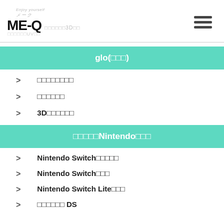ME-Q　□□□□□□UV□□　□□□□□□3D□□
glo(□□□)
> □□□□□□□□□
> □□□□□□
> 3D□□□□□□
□□□□□Nintendo□□□
> Nintendo Switch□□□□□
> Nintendo Switch□□□
> Nintendo Switch Lite□□□
> □□□□□□ DS